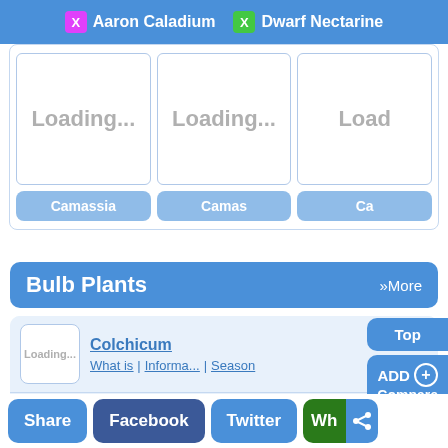X Aaron Caladium  X Dwarf Nectarine
[Figure (screenshot): Three plant cards showing 'Loading...' placeholder images with labels Camassia, Camas, Ca (partially cut off)]
Bulb Plants  »More
Colchicum — What is | Informa... | Season
Meadow Saffron — What is | Informa... | Season
Autumn Crocus — What is | Informa... | Season
Share  Facebook  Twitter  Wh (share icon)